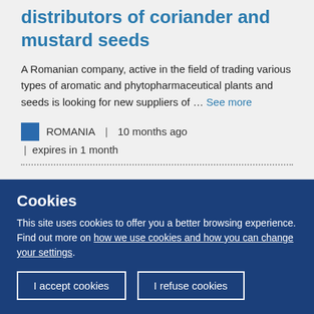distributors of coriander and mustard seeds
A Romanian company, active in the field of trading various types of aromatic and phytopharmaceutical plants and seeds is looking for new suppliers of … See more
ROMANIA | 10 months ago | expires in 1 month
A Czech company producing sustainable wooden houses is
Cookies
This site uses cookies to offer you a better browsing experience. Find out more on how we use cookies and how you can change your settings.